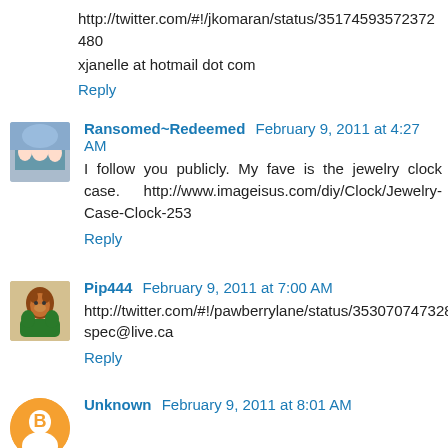http://twitter.com/#!/jkomaran/status/35174593572372480
xjanelle at hotmail dot com
Reply
Ransomed~Redeemed  February 9, 2011 at 4:27 AM
I follow you publicly. My fave is the jewelry clock case. http://www.imageisus.com/diy/Clock/Jewelry-Case-Clock-253
Reply
Pip444  February 9, 2011 at 7:00 AM
http://twitter.com/#!/pawberrylane/status/35307074732830720
spec@live.ca
Reply
Unknown  February 9, 2011 at 8:01 AM